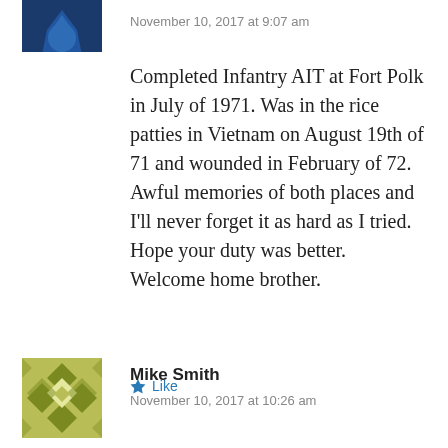[Figure (illustration): Navy blue avatar icon partially visible at top left]
November 10, 2017 at 9:07 am
Completed Infantry AIT at Fort Polk in July of 1971. Was in the rice patties in Vietnam on August 19th of 71 and wounded in February of 72. Awful memories of both places and I'll never forget it as hard as I tried. Hope your duty was better. Welcome home brother.
Like
[Figure (illustration): Green geometric patterned avatar for Mike Smith]
Mike Smith
November 10, 2017 at 10:26 am